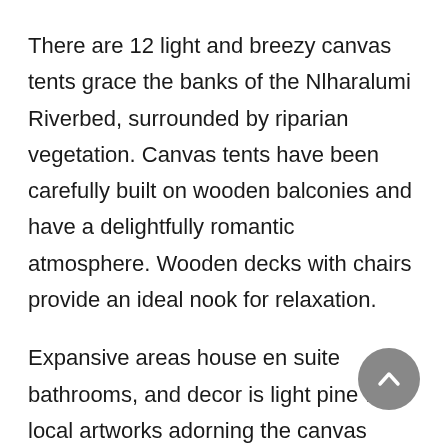There are 12 light and breezy canvas tents grace the banks of the Nlharalumi Riverbed, surrounded by riparian vegetation. Canvas tents have been carefully built on wooden balconies and have a delightfully romantic atmosphere. Wooden decks with chairs provide an ideal nook for relaxation.
Expansive areas house en suite bathrooms, and decor is light pine with local artworks adorning the canvas walls. Hovering above the tents is a canopy of trees providing much needed shade